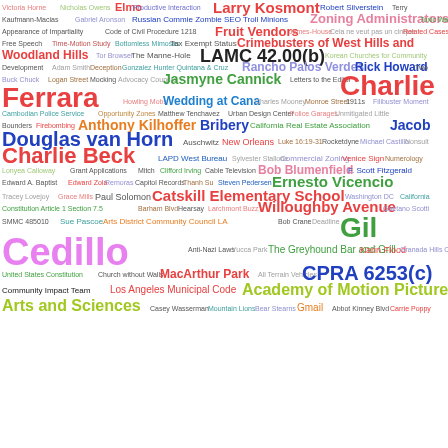[Figure (infographic): A word cloud containing names of people, organizations, laws, places, and topics related to Los Angeles government and city council matters. Terms include Larry Kosmont, Zoning Administrators, Fruit Vendors, LAMC 42.00(b), Charlie Ferrara, Jasmyne Cannick, Anthony Kilhoffer, Bribery, Jacob Douglas van Horn, Charlie Beck, Bob Blumenfield, Ernesto Vicencio, Catskill Elementary School, Willoughby Avenue, Gil Cedillo, CPRA 6253(c), Academy of Motion Picture Arts and Sciences, and many others in various colors and sizes.]